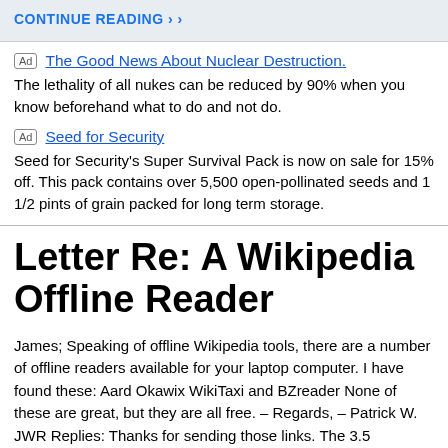CONTINUE READING ›
Ad  The Good News About Nuclear Destruction.
The lethality of all nukes can be reduced by 90% when you know beforehand what to do and not do.
Ad  Seed for Security
Seed for Security's Super Survival Pack is now on sale for 15% off. This pack contains over 5,500 open-pollinated seeds and 1 1/2 pints of grain packed for long term storage.
Letter Re: A Wikipedia Offline Reader
James; Speaking of offline Wikipedia tools, there are a number of offline readers available for your laptop computer. I have found these: Aard Okawix WikiTaxi and BZreader None of these are great, but they are all free. – Regards, – Patrick W. JWR Replies: Thanks for sending those links. The 3.5 Gigabytes required to store LeftistAgendaPedia Wikipedia complete with graphics is a good reason to remember to buy a laptop with a larger hard disk drive, the next time that you need